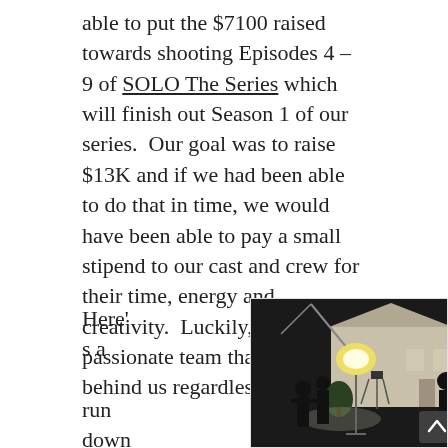able to put the $7100 raised towards shooting Episodes 4 – 9 of SOLO The Series which will finish out Season 1 of our series.  Our goal was to raise $13K and if we had been able to do that in time, we would have been able to pay a small stipend to our cast and crew for their time, energy and creativity.  Luckily, we have a passionate team that stood behind us regardless of the pay!
Here's a run down of our week of
[Figure (photo): Night film shoot scene showing crew with lighting equipment and camera in front of a house exterior. A bright light illuminates performers/crew silhouetted in the foreground. A scroll-to-top arrow button is visible in the bottom right corner of the image.]